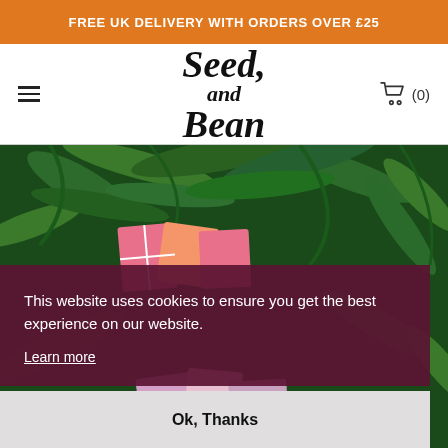FREE UK DELIVERY WITH ORDERS OVER £25
[Figure (logo): Seed and Bean logo in stylized handwritten font]
This website uses cookies to ensure you get the best experience on our website.
Learn more
Ok, Thanks